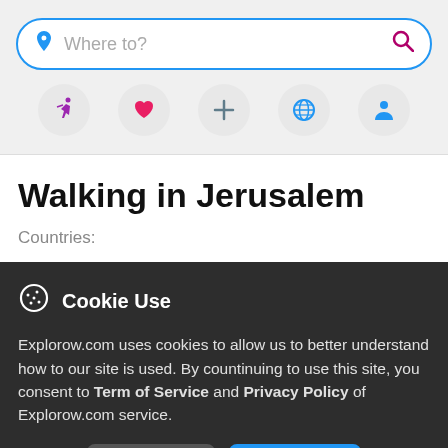[Figure (screenshot): Search bar with blue border, pin icon on left, 'Where to?' placeholder text, magnifying glass icon in pink/maroon on right]
[Figure (infographic): Row of five circular icon buttons: purple running person, pink heart, blue plus, blue globe, blue person silhouette]
Walking in Jerusalem
Countries:
Cookie Use
Explorow.com uses cookies to allow us to better understand how to our site is used. By countinuing to use this site, you consent to Term of Service and Privacy Policy of Explorow.com service.
More info | Accept all